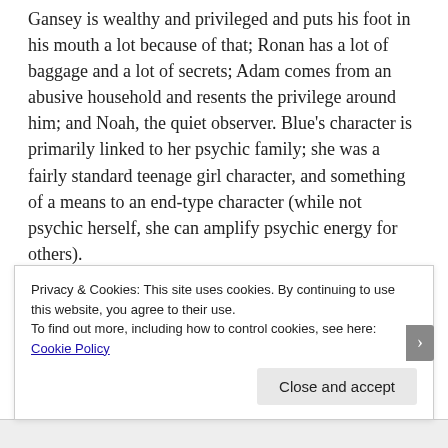Gansey is wealthy and privileged and puts his foot in his mouth a lot because of that; Ronan has a lot of baggage and a lot of secrets; Adam comes from an abusive household and resents the privilege around him; and Noah, the quiet observer. Blue's character is primarily linked to her psychic family; she was a fairly standard teenage girl character, and something of a means to an end-type character (while not psychic herself, she can amplify psychic energy for others).

While there was some interesting world-building based on the idea of magical ley lines across the world, it was sometimes a bit patchy. Big revelations never really felt particularly huge, or they were easy to predict.
Privacy & Cookies: This site uses cookies. By continuing to use this website, you agree to their use. To find out more, including how to control cookies, see here: Cookie Policy